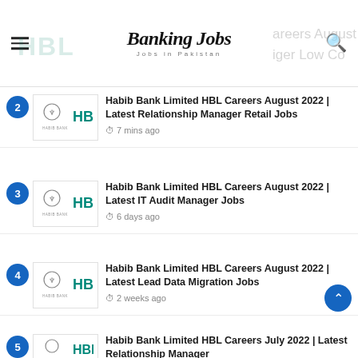Banking Jobs — Jobs in Pakistan
Habib Bank Limited HBL Careers August 2022 | Latest Relationship Manager Retail Jobs — 7 mins ago
Habib Bank Limited HBL Careers August 2022 | Latest IT Audit Manager Jobs — 6 days ago
Habib Bank Limited HBL Careers August 2022 | Latest Lead Data Migration Jobs — 2 weeks ago
Habib Bank Limited HBL Careers July 2022 | Latest Relationship Manager [continues]